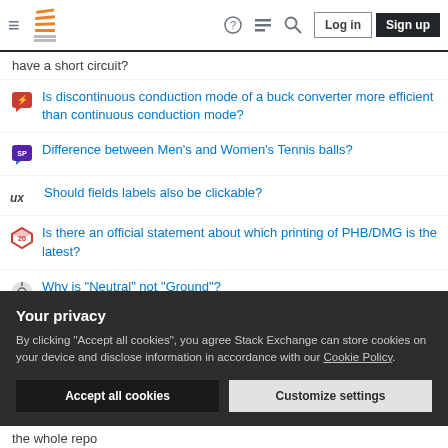Stack Exchange navigation header with Log in and Sign up buttons
have a short circuit?
Is discontinuous conduction mode of a buck converter more efficient than continuous conduction mode?
Difference between Men's and Women's Tennis balls?
Should fields labels also be clickable?
Is there an official statement about which printing of PHB/DMG is the latest?
Why is "Neutral" not "Ground"?
The Oracle's IQ Test
How to avoid or cope with a bad day where my flying felt sloppy?
What is the political justification by China and India for not...
Your privacy
By clicking "Accept all cookies", you agree Stack Exchange can store cookies on your device and disclose information in accordance with our Cookie Policy.
Accept all cookies   Customize settings
the whole repo